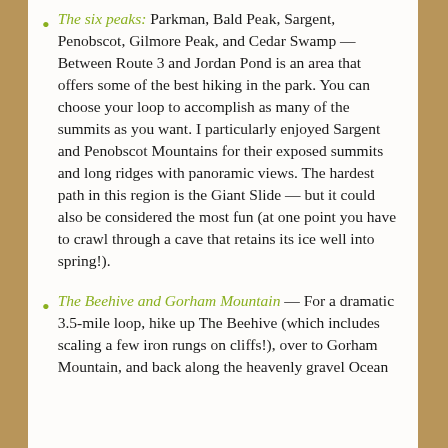The six peaks: Parkman, Bald Peak, Sargent, Penobscot, Gilmore Peak, and Cedar Swamp — Between Route 3 and Jordan Pond is an area that offers some of the best hiking in the park. You can choose your loop to accomplish as many of the summits as you want. I particularly enjoyed Sargent and Penobscot Mountains for their exposed summits and long ridges with panoramic views. The hardest path in this region is the Giant Slide — but it could also be considered the most fun (at one point you have to crawl through a cave that retains its ice well into spring!).
The Beehive and Gorham Mountain — For a dramatic 3.5-mile loop, hike up The Beehive (which includes scaling a few iron rungs on cliffs!), over to Gorham Mountain, and back along the heavenly gravel Ocean